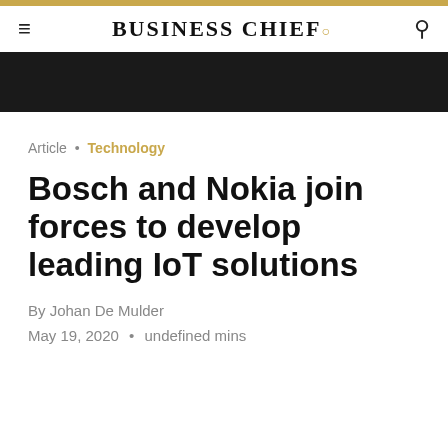BUSINESS CHIEF.
Article • Technology
Bosch and Nokia join forces to develop leading IoT solutions
By Johan De Mulder
May 19, 2020 • undefined mins